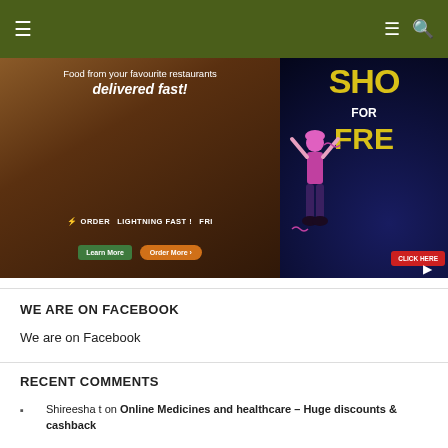[Figure (screenshot): Mobile app navigation bar with dark olive/green background and hamburger/search icons]
[Figure (photo): Food delivery banner: 'Food from your favourite restaurants delivered fast!' with burger image and buttons 'Learn More' and 'Order More']
[Figure (illustration): Dark blue banner with dancing figure, text 'SHO FOR FRE' in yellow and 'CLICK HERE' button]
WE ARE ON FACEBOOK
We are on Facebook
RECENT COMMENTS
Shireesha t on Online Medicines and healthcare – Huge discounts & cashback
Film d'animation Lausanne on Top 4 Hotel booking sites with best cashback
MANOJ PANDEY on Online recharging: Benefits & Cashback offers